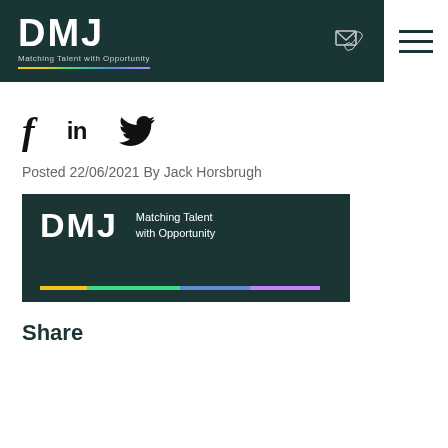DMJ — Matching Talent with Opportunity
[Figure (logo): Social media share icons: Facebook (f), LinkedIn (in), Twitter bird]
Posted 22/06/2021 By Jack Horsbrugh
[Figure (logo): DMJ logo image on dark teal background with tagline 'Matching Talent with Opportunity' and multicolor underline bar]
Share